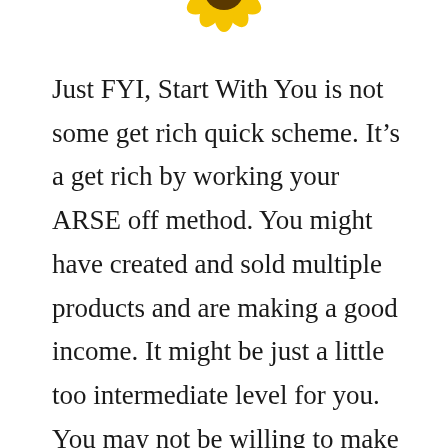[Figure (logo): Sunflower logo partially visible at top center of page]
Just FYI, Start With You is not some get rich quick scheme. It’s a get rich by working your ARSE off method. You might have created and sold multiple products and are making a good income. It might be just a little too intermediate level for you. You may not be willing to make the financial investment. We know Marisa offers some payment plans, but you’re going to have to spend more than you’d spend on dinner at Taco Bell, but is